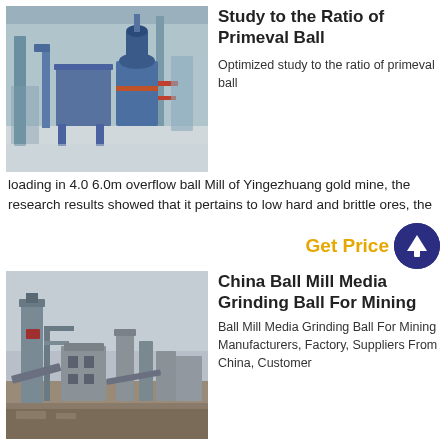[Figure (photo): Industrial ball mill equipment inside a large factory/warehouse, blue machinery with cyclone separator]
Study to the Ratio of Primeval Ball
Optimized study to the ratio of primeval ball loading in 4.0 6.0m overflow ball Mill of Yingezhuang gold mine, the research results showed that it pertains to low hard and brittle ores, the
Get Price
[Figure (photo): Outdoor industrial mining/processing plant with silos, conveyors, and towers under an overcast sky]
China Ball Mill Media Grinding Ball For Mining
Ball Mill Media Grinding Ball For Mining Manufacturers, Factory, Suppliers From China, Customer